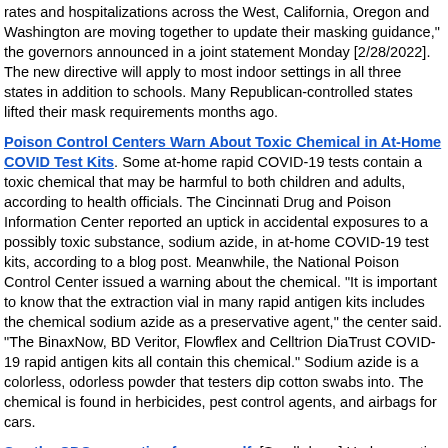rates and hospitalizations across the West, California, Oregon and Washington are moving together to update their masking guidance," the governors announced in a joint statement Monday [2/28/2022]. The new directive will apply to most indoor settings in all three states in addition to schools. Many Republican-controlled states lifted their mask requirements months ago.
Poison Control Centers Warn About Toxic Chemical in At-Home COVID Test Kits. Some at-home rapid COVID-19 tests contain a toxic chemical that may be harmful to both children and adults, according to health officials. The Cincinnati Drug and Poison Information Center reported an uptick in accidental exposures to a possibly toxic substance, sodium azide, in at-home COVID-19 test kits, according to a blog post. Meanwhile, the National Poison Control Center issued a warning about the chemical. "It is important to know that the extraction vial in many rapid antigen kits includes the chemical sodium azide as a preservative agent," the center said. "The BinaxNow, BD Veritor, Flowflex and Celltrion DiaTrust COVID-19 rapid antigen kits all contain this chemical." Sodium azide is a colorless, odorless powder that testers dip cotton swabs into. The chemical is found in herbicides, pest control agents, and airbags for cars.
See the CDC corruption for yourself. [Scroll down] Underreporting is more likely. In fact, the term "overreporting" wasn't even mentioned in the references they cite. I can't even figure out how VAERS could be overreported since the system should eliminate duplicates unless there is a bug. But the key thing here is they did absolutely nothing to attempt to quantify the underreporting factor (URF). They absolutely know how to estimate it. [...] When I make the URF calculation using their methods and the best available data, the CDC claims that they don't agree with my results. They never say why. My minimum URF comes to 41. But that's for really serious stuff that will always get reported to VAERS. For myocarditis, the doctors don't like to believe it could be caused